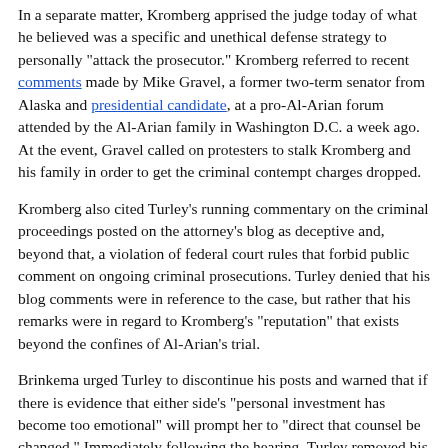In a separate matter, Kromberg apprised the judge today of what he believed was a specific and unethical defense strategy to personally "attack the prosecutor." Kromberg referred to recent comments made by Mike Gravel, a former two-term senator from Alaska and presidential candidate, at a pro-Al-Arian forum attended by the Al-Arian family in Washington D.C. a week ago. At the event, Gravel called on protesters to stalk Kromberg and his family in order to get the criminal contempt charges dropped.
Kromberg also cited Turley's running commentary on the criminal proceedings posted on the attorney's blog as deceptive and, beyond that, a violation of federal court rules that forbid public comment on ongoing criminal prosecutions. Turley denied that his blog comments were in reference to the case, but rather that his remarks were in regard to Kromberg's "reputation" that exists beyond the confines of Al-Arian's trial.
Brinkema urged Turley to discontinue his posts and warned that if there is evidence that either side's "personal investment has become too emotional" will prompt her to "direct that counsel be changed." Immediately following the hearing, Turley removed his blog postings and attempted to minimize the influence of his commentary on the public by saying they were only intended to "make filings available to reduce the calls to our staff from the media and the public."